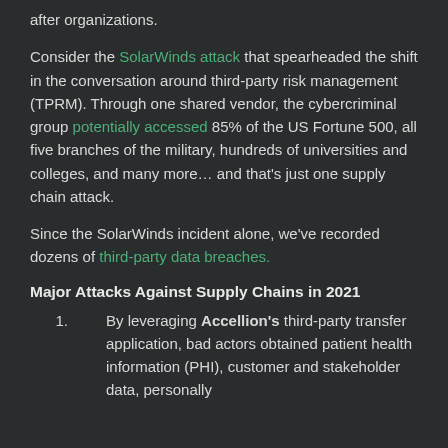after organizations.
Consider the SolarWinds attack that spearheaded the shift in the conversation around third-party risk management (TPRM). Through one shared vendor, the cybercriminal group potentially accessed 85% of the US Fortune 500, all five branches of the military, hundreds of universities and colleges, and many more... and that's just one supply chain attack.
Since the SolarWinds incident alone, we've recorded dozens of third-party data breaches.
Major Attacks Against Supply Chains in 2021
By leveraging Accellion's third-party transfer application, bad actors obtained patient health information (PHI), customer and stakeholder data, personally